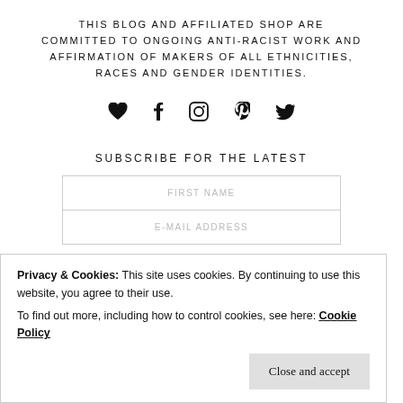THIS BLOG AND AFFILIATED SHOP ARE COMMITTED TO ONGOING ANTI-RACIST WORK AND AFFIRMATION OF MAKERS OF ALL ETHNICITIES, RACES AND GENDER IDENTITIES.
[Figure (other): Row of social media icons: heart/Bloglovin, Facebook, Instagram, Pinterest, Twitter]
SUBSCRIBE FOR THE LATEST
FIRST NAME [input field]
E-MAIL ADDRESS [input field]
Privacy & Cookies: This site uses cookies. By continuing to use this website, you agree to their use. To find out more, including how to control cookies, see here: Cookie Policy
Close and accept